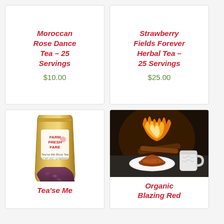Moroccan Rose Dance Tea – 25 Servings
$10.00
Strawberry Fields Forever Herbal Tea – 25 Servings
$25.00
[Figure (photo): Gold foil resealable bag labeled 'Farm Fresh Fare' with text 'Tea'se Me Rose Tea' containing dried rose petals/tea blend]
Tea'se Me
[Figure (photo): A white plate with a mound of reddish-brown loose leaf tea (rooibos), a white mug in the background, and a fireplace with flames in the background]
Organic Blazing Red